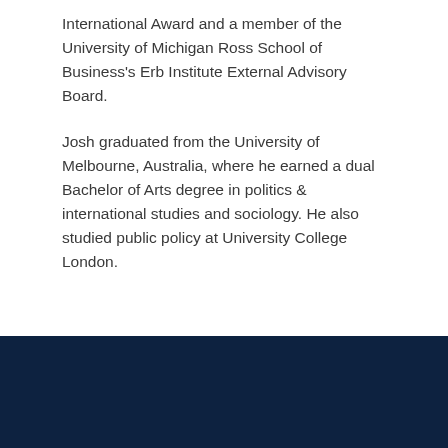International Award and a member of the University of Michigan Ross School of Business's Erb Institute External Advisory Board.
Josh graduated from the University of Melbourne, Australia, where he earned a dual Bachelor of Arts degree in politics & international studies and sociology. He also studied public policy at University College London.